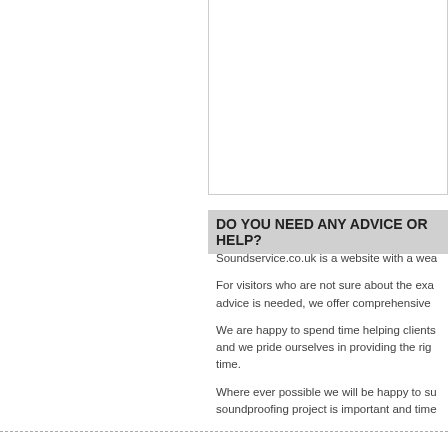environmentally friendly ther... insulation for cavities of stud... and provides first-class ther... acoustic insulation.
DO YOU NEED ANY ADVICE OR HELP?
Soundservice.co.uk is a website with a wea...
For visitors who are not sure about the exa... advice is needed, we offer comprehensive ...
We are happy to spend time helping clients... and we pride ourselves in providing the rig... time.
Where ever possible we will be happy to su... soundproofing project is important and time... able to meet your sound proofing materials...
All supplied soundproofing products are ma... soundproofing related legislation where rec... product requires you to meet a soundproof... phone or email.
Call today on 0845 363 7131 and we will be... helping you to purchase the perfect soundp...